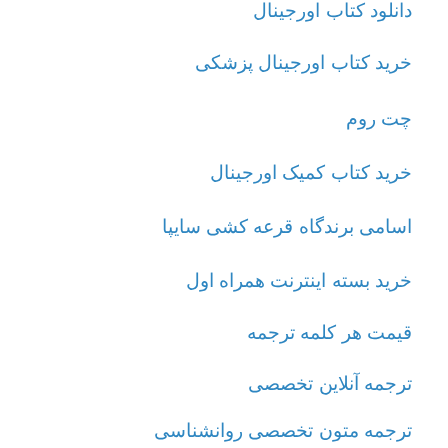دانلود کتاب اورجینال
خرید کتاب اورجینال پزشکی
چت روم
خرید کتاب کمیک اورجینال
اسامی برندگاه قرعه کشی سایپا
خرید بسته اینترنت همراه اول
قیمت هر کلمه ترجمه
ترجمه آنلاین تخصصی
ترجمه متون تخصصی روانشناسی